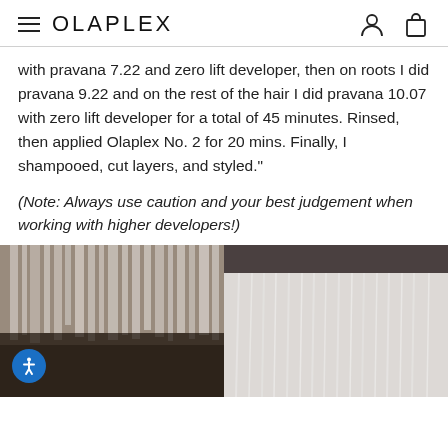OLAPLEX
with pravana 7.22 and zero lift developer, then on roots I did pravana 9.22 and on the rest of the hair I did pravana 10.07 with zero lift developer for a total of 45 minutes. Rinsed, then applied Olaplex No. 2 for 20 mins. Finally, I shampooed, cut layers, and styled."
(Note: Always use caution and your best judgement when working with higher developers!)
[Figure (photo): Two side-by-side hair photos: left shows dark hair being bleached/colored with product applied, right shows the finished result with white/platinum blonde hair.]